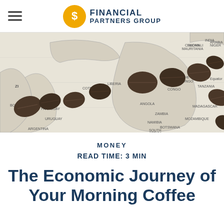Financial Partners Group
[Figure (photo): Coffee beans arranged on a world map, spanning from South America across Africa, suggesting the global origins and trade routes of coffee.]
MONEY
READ TIME: 3 MIN
The Economic Journey of Your Morning Coffee